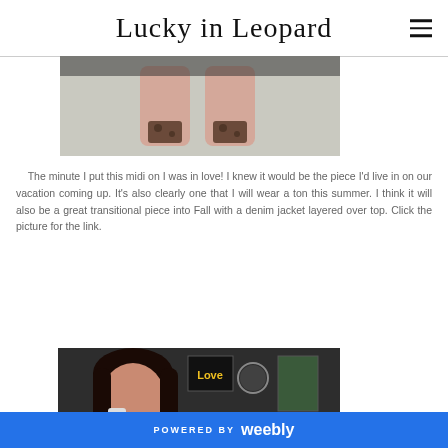Lucky in Leopard
[Figure (photo): Close-up photo of feet/ankles wearing leopard print heels on a light carpet floor]
The minute I put this midi on I was in love! I knew it would be the piece I'd live in on our vacation coming up. It's also clearly one that I will wear a ton this summer. I think it will also be a great transitional piece into Fall with a denim jacket layered over top. Click the picture for the link.
[Figure (photo): Woman with dark hair posing indoors in front of wall decor including a 'Love' sign and framed botanical prints]